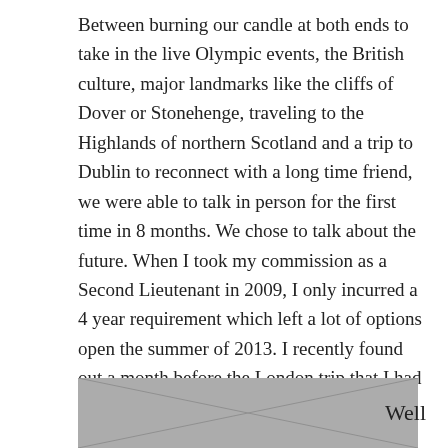Between burning our candle at both ends to take in the live Olympic events, the British culture, major landmarks like the cliffs of Dover or Stonehenge, traveling to the Highlands of northern Scotland and a trip to Dublin to reconnect with a long time friend, we were able to talk in person for the first time in 8 months. We chose to talk about the future. When I took my commission as a Second Lieutenant in 2009, I only incurred a 4 year requirement which left a lot of options open the summer of 2013. I recently found out a month before the London trip that I had been selected to attend Special Forces Assessment and Selection (SFAS), the 4 week tryout for Army Special Forces which had been my end goal from the day I joined the Army.
[Figure (photo): Partial outdoor photo showing a scene, partially visible at the bottom of the page]
Well